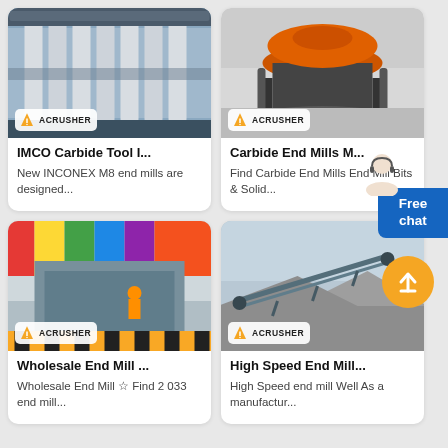[Figure (photo): Industrial IMCO carbide tool machinery with multiple parallel rods/mills, ACRUSHER branding]
IMCO Carbide Tool I...
New INCONEX M8 end mills are designed...
[Figure (photo): Large industrial crusher/mill machine in grey with orange top, ACRUSHER branding]
Carbide End Mills M...
Find Carbide End Mills End Mill Bits & Solid...
[Figure (photo): Heavy industrial impact crusher machine with yellow safety markings and international flags in background, ACRUSHER branding]
Wholesale End Mill ...
Wholesale End Mill ☆ Find 2 033 end mill...
[Figure (photo): Outdoor conveyor belt system at a quarry/mining site with gravel piles, ACRUSHER branding]
High Speed End Mill...
High Speed end mill Well As a manufactur...